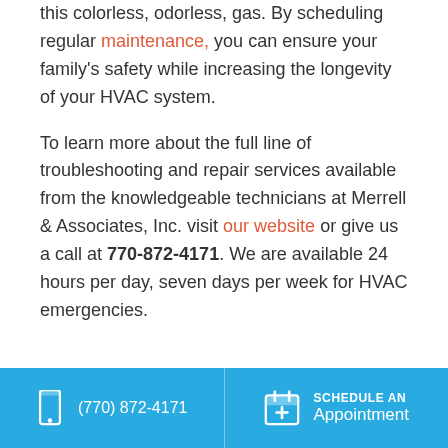this colorless, odorless, gas. By scheduling regular maintenance, you can ensure your family's safety while increasing the longevity of your HVAC system.
To learn more about the full line of troubleshooting and repair services available from the knowledgeable technicians at Merrell & Associates, Inc. visit our website or give us a call at 770-872-4171. We are available 24 hours per day, seven days per week for HVAC emergencies.
(770) 872-4171  |  SCHEDULE AN Appointment